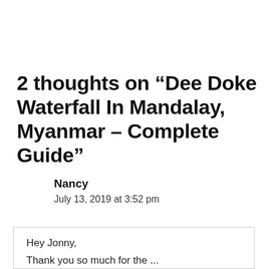2 thoughts on “Dee Doke Waterfall In Mandalay, Myanmar – Complete Guide”
Nancy
July 13, 2019 at 3:52 pm
Hey Jonny,